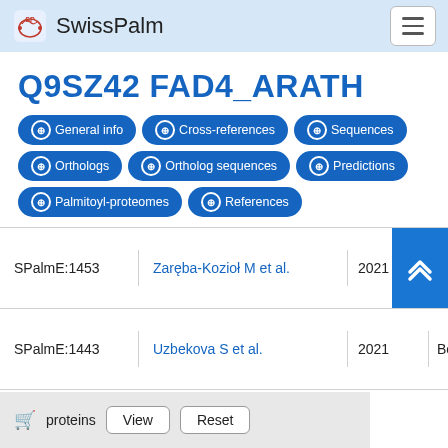SwissPalm
Q9SZ42 FAD4_ARATH
General info | Cross-references | Sequences | Orthologs | Ortholog sequences | Predictions | Palmitoyl-proteomes | References
| ID | Author | Year | Organism |
| --- | --- | --- | --- |
| SPalmE:1453 | Zaręba-Kozioł M et al. | 2021 | us... |
| SPalmE:1443 | Uzbekova S et al. | 2021 | Bos |
proteins  View  Reset